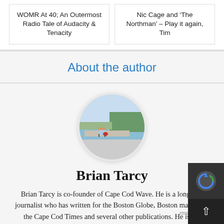WOMR At 40; An Outermost Radio Tale of Audacity & Tenacity
Nic Cage and ‘The Northman’ – Play it again, Tim
About the author
[Figure (photo): Circular cropped photo of a person by a waterfront/dock area with trees and water in the background]
Brian Tarcy
Brian Tarcy is co-founder of Cape Cod Wave. He is a longtime journalist who has written for the Boston Globe, Boston magazine, the Cape Cod Times and several other publications. He is the author of "YOU CAN'T SELL R FIELD; A Cape Cod Novel." He is also the author or author of more than a dozen mostly non-fiction boo